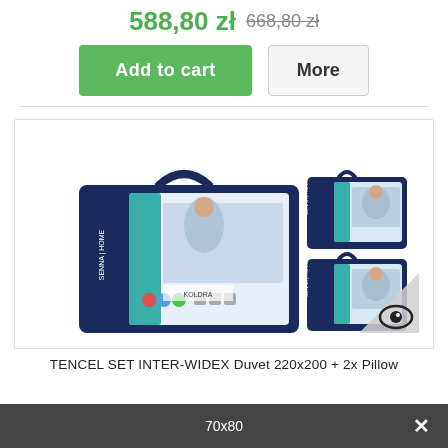588,80 zł 668,80 zł
Add to cart
More
[Figure (photo): Product photo showing SENNA HOME TENCEL SET INTER-WIDEX bedding set: a large duvet package and two smaller pillow packages, all in dark navy blue packaging with white/teal accents]
TENCEL SET INTER-WIDEX Duvet 220x200 + 2x Pillow
70x80 ×